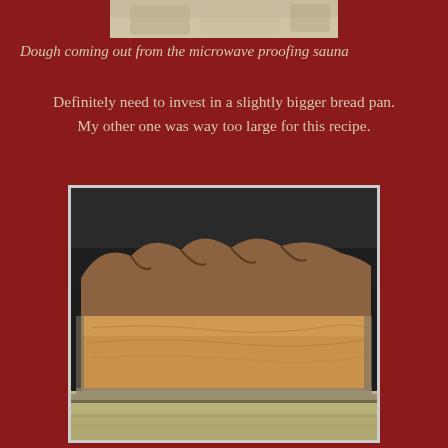[Figure (photo): Top portion of a photo showing dough coming out of a microwave proofing sauna — partially visible, cropped at top of page]
Dough coming out from the microwave proofing sauna
Definitely need to invest in a slightly bigger bread pan. My other one was way too large for this recipe.
[Figure (photo): Photo of a baked bread loaf in a bread pan, sitting on a microwave/oven shelf. The bread has a golden-brown crust with irregular bumps on top. Below the pan is the metal shelf of the appliance.]